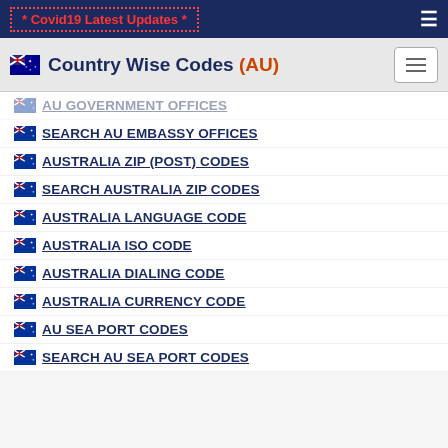* Covid19 Latest Updates *
Country Wise Codes (AU)
AU GOVERNMENT OFFICES
SEARCH AU EMBASSY OFFICES
AUSTRALIA ZIP (POST) CODES
SEARCH AUSTRALIA ZIP CODES
AUSTRALIA LANGUAGE CODE
AUSTRALIA ISO CODE
AUSTRALIA DIALING CODE
AUSTRALIA CURRENCY CODE
AU SEA PORT CODES
SEARCH AU SEA PORT CODES